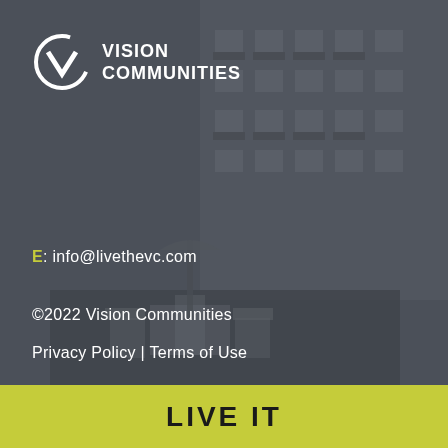[Figure (photo): Background photo of a residential apartment building with balconies, shown with a dark gray overlay. Outdoor furniture including chairs and tables visible in foreground.]
[Figure (logo): Vision Communities logo: white circular arc with a V shape inside, followed by bold white text reading VISION COMMUNITIES on two lines.]
E: info@livethevc.com
©2022 Vision Communities
Privacy Policy | Terms of Use
LIVE IT